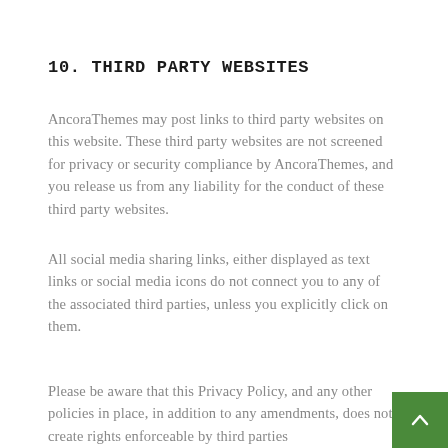10. THIRD PARTY WEBSITES
AncoraThemes may post links to third party websites on this website. These third party websites are not screened for privacy or security compliance by AncoraThemes, and you release us from any liability for the conduct of these third party websites.
All social media sharing links, either displayed as text links or social media icons do not connect you to any of the associated third parties, unless you explicitly click on them.
Please be aware that this Privacy Policy, and any other policies in place, in addition to any amendments, does not create rights enforceable by third parties